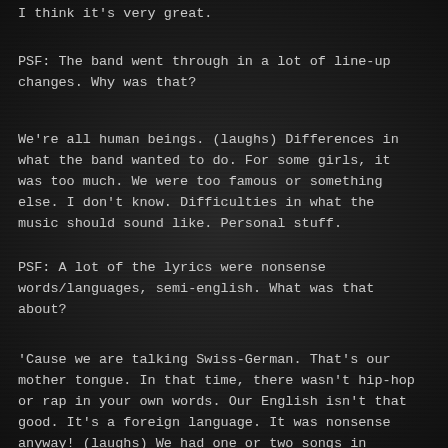I think it's very great.
PSF: The band went through in a lot of line-up changes. Why was that?
We're all human beings. (laughs) Differences in what the band wanted to do. For some girls, it was too much. We were too famous or something else. I don't know. Difficulties in what the music should sound like. Personal stuff.
PSF: A lot of the lyrics were nonsense words/languages, semi-english. What was that about?
'Cause we are talking Swiss-German. That's our mother tongue. In that time, there wasn't hip-hop or rap in your own words. Our English isn't that good. It's a foreign language. It was nonsense anyway! (laughs) We had one or two songs in German. But these bands now have rap songs here in Swiss-German and I think it's really good. For